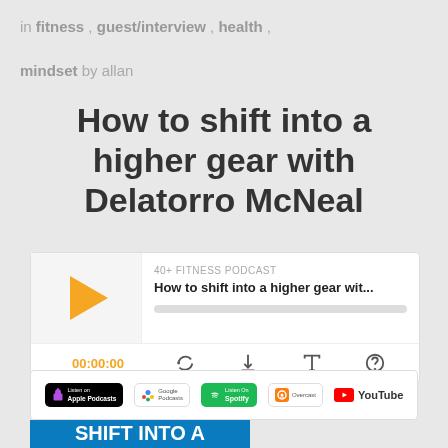in fitness , guest/interview , health ,
mindset by allan
How to shift into a higher gear with Delatorro McNeal
[Figure (screenshot): Podcast player widget showing 40+ FITNESS PODCAST episode titled 'How to shift into a higher gear wit...' with play button, progress bar, time 00:00:00, and control icons for RSS, download, embed, and Overcast]
[Figure (screenshot): Platform badges row: Listen on Apple Podcasts, Google Podcasts, Spotify, Overcast, YouTube]
[Figure (photo): Book cover banner showing 'SHIFT INTO A HIGHER...' text on blue background]